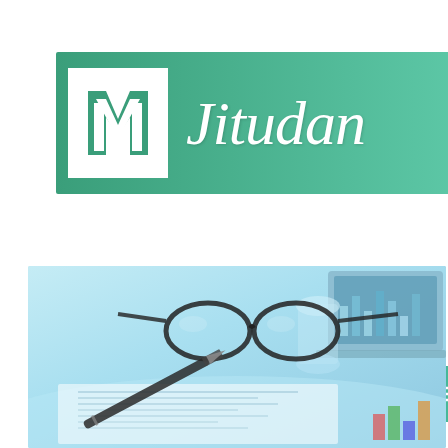[Figure (logo): Jitudan logo banner with green gradient background, white square logo mark with stylized M/Y letterform, and italic white 'Jitudan' text]
[Figure (infographic): Navigation bar with dark background showing 'NAVIGATE' text, teal search icon button, and teal hamburger menu button]
[Figure (photo): Finance-themed stock photo showing eyeglasses, a pen, a glass of water, papers with charts, and a laptop on a blue-tinted desk]